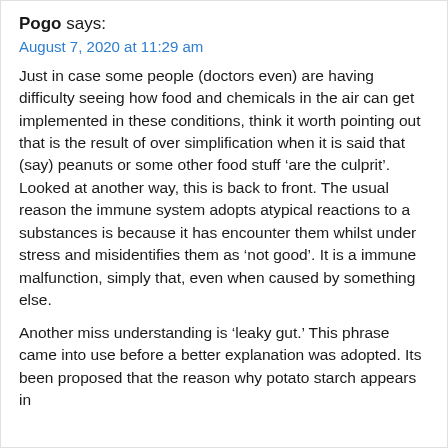Pogo says:
August 7, 2020 at 11:29 am
Just in case some people (doctors even) are having difficulty seeing how food and chemicals in the air can get implemented in these conditions, think it worth pointing out that is the result of over simplification when it is said that (say) peanuts or some other food stuff ‘are the culprit’. Looked at another way, this is back to front. The usual reason the immune system adopts atypical reactions to a substances is because it has encounter them whilst under stress and misidentifies them as ‘not good’. It is a immune malfunction, simply that, even when caused by something else.
Another miss understanding is ‘leaky gut.’ This phrase came into use before a better explanation was adopted. Its been proposed that the reason why potato starch appears in